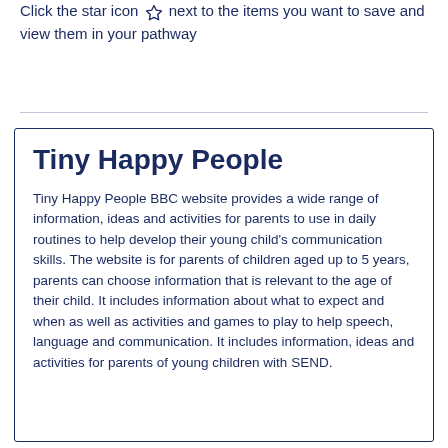Click the star icon ☆ next to the items you want to save and view them in your pathway
Tiny Happy People
Tiny Happy People BBC website provides a wide range of information, ideas and activities for parents to use in daily routines to help develop their young child's communication skills. The website is for parents of children aged up to 5 years, parents can choose information that is relevant to the age of their child. It includes information about what to expect and when as well as activities and games to play to help speech, language and communication. It includes information, ideas and activities for parents of young children with SEND.